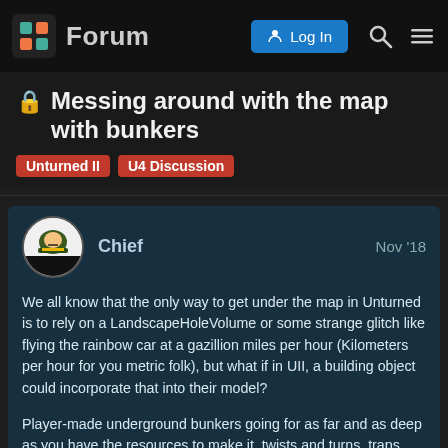Forum
🔒 Messing around with the map with bunkers
Unturned II   U4 Discussion
Chief   Nov '18
We all know that the only way to get under the map in Unturned is to rely on a LandscapeHoleVolume or some strange glitch like flying the rainbow car at a gazillion miles per hour (Kilometers per hour for you metric folk), but what if in UII, a building object could incorporate that into their model?
Player-made underground bunkers going for as far and as deep as you have the resources to make it, twists and turns, traps here and there. Of course this would open up the exploitation possibilities such as destroying the entrance to the base to trap